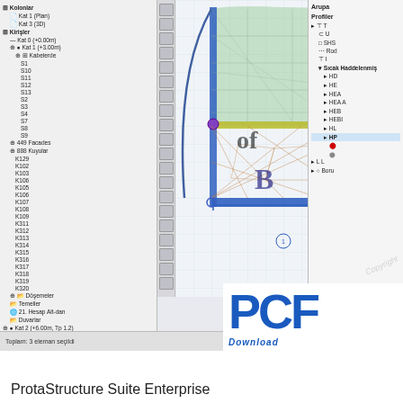[Figure (screenshot): ProtaStructure Suite Enterprise software interface showing a structural model with a tree panel on the left listing structural elements (Columns, Beams, Slabs etc.), a central CAD/BIM viewport displaying a building floor plan with curved geometry, columns, beams and mesh elements rendered in green and blue, and a right panel showing a profile/section library with various steel section types. A PCF logo appears in the lower right with 'Download' text.]
ProtaStructure Suite Enterprise